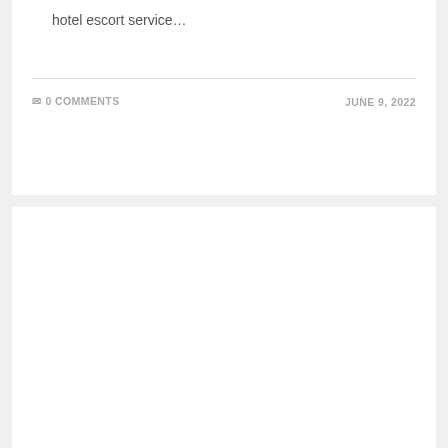hotel escort service…
0 COMMENTS
JUNE 9, 2022